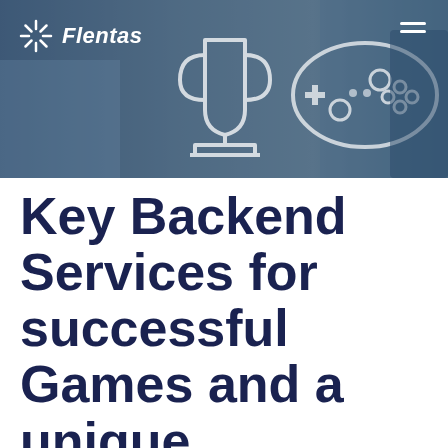[Figure (photo): Hero banner image showing gaming icons including a trophy and game controller overlaid on a blurred background, with the Flentas logo and hamburger menu visible]
Flentas
Key Backend Services for successful Games and a unique gameplay experience